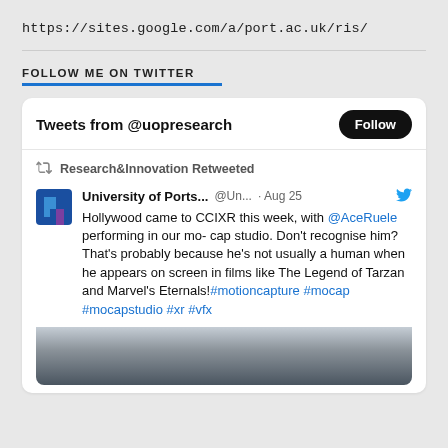https://sites.google.com/a/port.ac.uk/ris/
FOLLOW ME ON TWITTER
[Figure (screenshot): Twitter widget showing tweets from @uopresearch with a Follow button. Contains a retweeted post from University of Ports... (@Un...) dated Aug 25 reading: Hollywood came to CCIXR this week, with @AceRuele performing in our mo- cap studio. Don't recognise him? That's probably because he's not usually a human when he appears on screen in films like The Legend of Tarzan and Marvel's Eternals! #motioncapture #mocap #mocapstudio #xr #vfx. Below is a partial image.]